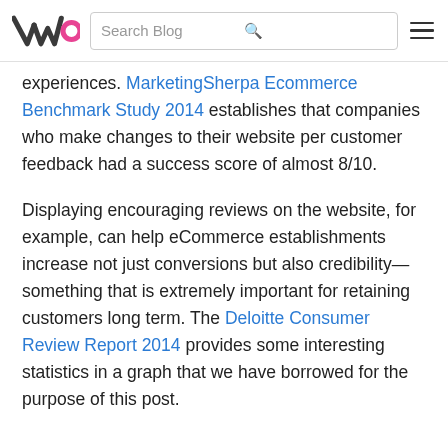VWO | Search Blog
experiences. MarketingSherpa Ecommerce Benchmark Study 2014 establishes that companies who make changes to their website per customer feedback had a success score of almost 8/10.
Displaying encouraging reviews on the website, for example, can help eCommerce establishments increase not just conversions but also credibility—something that is extremely important for retaining customers long term. The Deloitte Consumer Review Report 2014 provides some interesting statistics in a graph that we have borrowed for the purpose of this post.